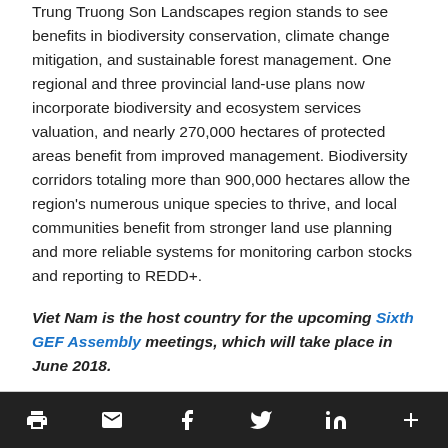Trung Truong Son Landscapes region stands to see benefits in biodiversity conservation, climate change mitigation, and sustainable forest management. One regional and three provincial land-use plans now incorporate biodiversity and ecosystem services valuation, and nearly 270,000 hectares of protected areas benefit from improved management. Biodiversity corridors totaling more than 900,000 hectares allow the region's numerous unique species to thrive, and local communities benefit from stronger land use planning and more reliable systems for monitoring carbon stocks and reporting to REDD+.
Viet Nam is the host country for the upcoming Sixth GEF Assembly meetings, which will take place in June 2018.
[social share icons: print, email, facebook, twitter, linkedin, more]